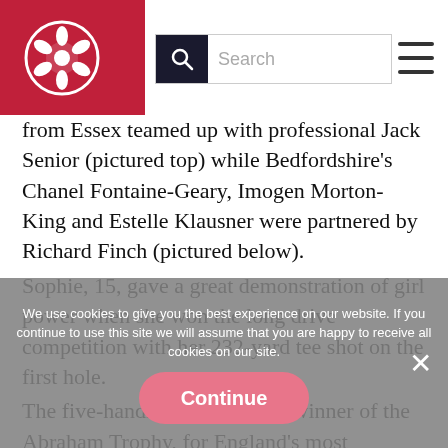England Golf website header with logo, search bar, and hamburger menu
from Essex teamed up with professional Jack Senior (pictured top) while Bedfordshire's Chanel Fontaine-Geary, Imogen Morton-King and Estelle Klausner were partnered by Richard Finch (pictured below).
Sophie, 15, gave a great demonstration of girl power when she won the long drive competition with her 232-yard tee shot on the first hole.
The five-handicapper is a past winner of the Abraham Trophy, for England's most improved girl golfer, and, with Ysobel, was one of the first ambassadors when Girls Golf Rocks started in Essex three years ago.
“I’ve always loved it,” said 16-year-old Ysobel, who wants to be a PE teacher and who has
We use cookies to give you the best experience on our website. If you continue to use this site we will assume that you are happy to receive all cookies on our site.